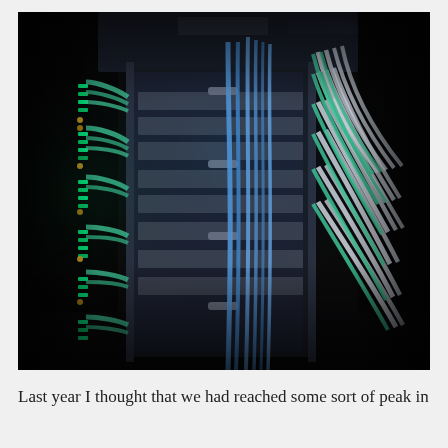[Figure (photo): Close-up photograph of a server rack or data center networking equipment in a dark environment. Visible are dense bundles of cables — white, teal/green, and blue ethernet/fiber cables running vertically and horizontally through patch panels. Green LED indicator lights glow in rows on the left side. The equipment is illuminated with cool blue and green lighting against a dark black background, giving a high-tech, atmospheric look.]
Last year I thought that we had reached some sort of peak in